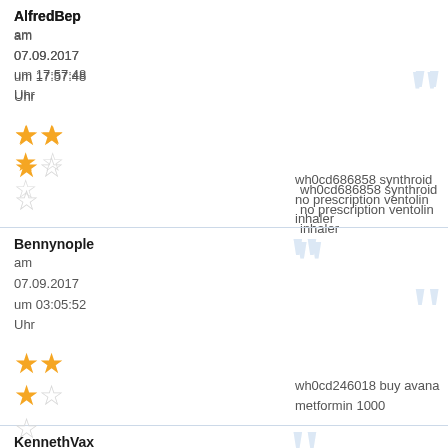AlfredBep
am
07.09.2017
um 17:57:48
Uhr
wh0cd686858 synthroid no prescription ventolin inhaler
Bennynople
am
07.09.2017
um 03:05:52
Uhr
wh0cd246018 buy avana metformin 1000
KennethVax
am
06.09.2017